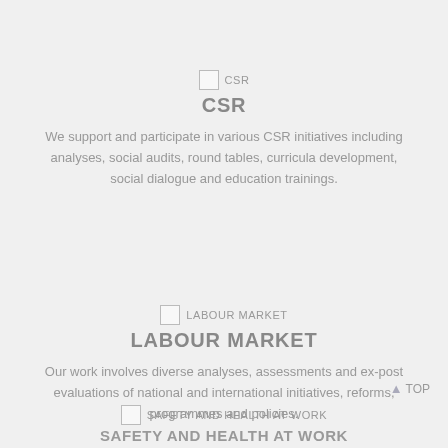[Figure (illustration): Small broken image icon with label CSR]
CSR
We support and participate in various CSR initiatives including analyses, social audits, round tables, curricula development, social dialogue and education trainings.
[Figure (illustration): Small broken image icon with label LABOUR MARKET]
LABOUR MARKET
Our work involves diverse analyses, assessments and ex-post evaluations of national and international initiatives, reforms, programmes and policies.
TOP
[Figure (illustration): Small broken image icon with label SAFETY AND HEALTH AT WORK]
SAFETY AND HEALTH AT WORK